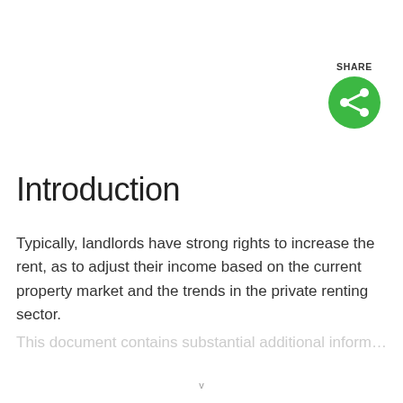[Figure (other): Green circular share button with white share icon, labeled SHARE above it]
Introduction
Typically, landlords have strong rights to increase the rent, as to adjust their income based on the current property market and the trends in the private renting sector.
This document contains…
v